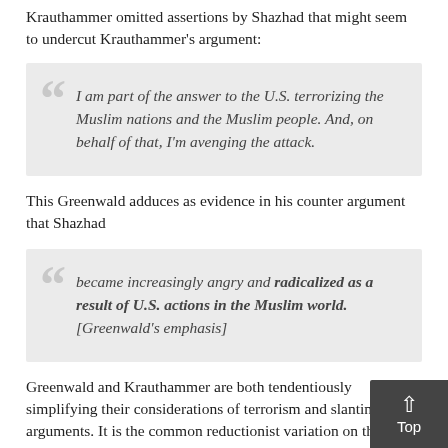Krauthammer omitted assertions by Shazhad that might seem to undercut Krauthammer's argument:
I am part of the answer to the U.S. terrorizing the Muslim nations and the Muslim people. And, on behalf of that, I'm avenging the attack.
This Greenwald adduces as evidence in his counter argument that Shazhad
became increasingly angry and radicalized as a result of U.S. actions in the Muslim world. [Greenwald's emphasis]
Greenwald and Krauthammer are both tendentiously simplifying their considerations of terrorism and slanting their arguments. It is the common reductionist variation on the fallacy of false cause: to single out only one cause of a